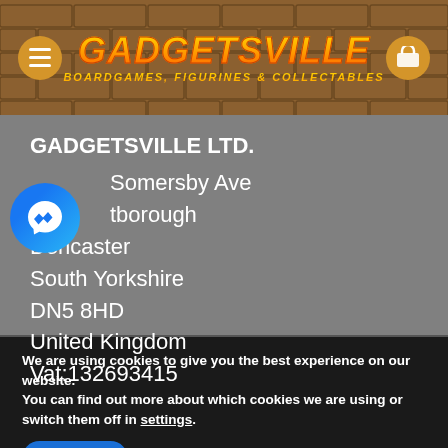GADGETSVILLE — BOARDGAMES, FIGURINES & COLLECTABLES
GADGETSVILLE LTD.
Somersby Ave
Peterborough
Doncaster
South Yorkshire
DN5 8HD
United Kingdom
Vat:132693415
We are using cookies to give you the best experience on our website.
You can find out more about which cookies we are using or switch them off in settings.
Accept